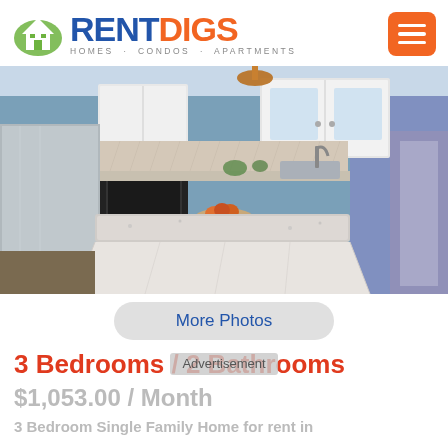[Figure (logo): RentDigs logo with house icon, text RENT DIGS, tagline HOMES · CONDOS · APARTMENTS, and orange hamburger menu button]
[Figure (photo): Interior kitchen photo showing granite island countertop, white cabinets, stainless steel refrigerator, black oven, tile backsplash, pendant light]
More Photos
3 Bedrooms / 2 Bathrooms
$1,053.00 / Month
3 Bedroom Single Family Home for rent in